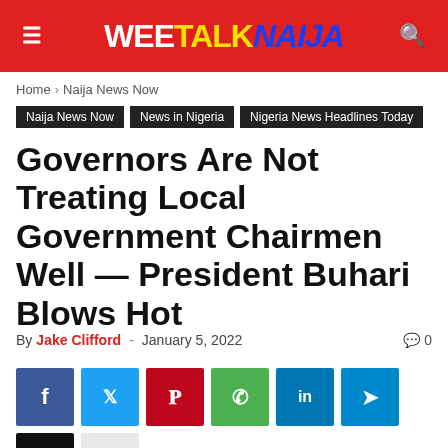WEETALKNAIJA
Home › Naija News Now
Naija News Now
News in Nigeria
Nigeria News Headlines Today
Governors Are Not Treating Local Government Chairmen Well — President Buhari Blows Hot
By Jake Clifford - January 5, 2022
[Figure (other): Social share buttons: Facebook, Twitter, Pinterest, WhatsApp, LinkedIn, Telegram, Email, More]